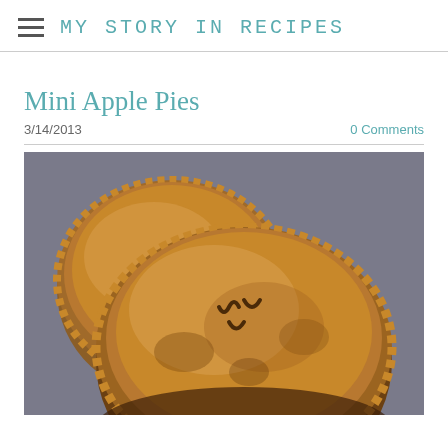MY STORY IN RECIPES
Mini Apple Pies
3/14/2013
0 Comments
[Figure (photo): Close-up photo of two baked mini apple pies with crimped edges and steam vents on top, golden brown crust, on a light surface.]